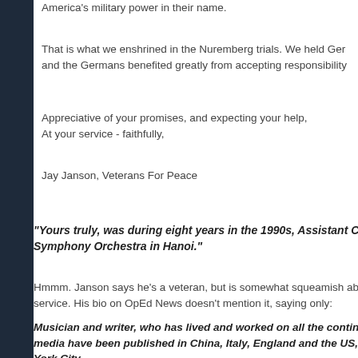America's military power in their name.
That is what we enshrined in the Nuremberg trials. We held Ger… and the Germans benefited greatly from accepting responsibility…
Appreciative of your promises, and expecting your help,
At your service - faithfully,
Jay Janson, Veterans For Peace
"Yours truly, was during eight years in the 1990s, Assistant Condu… Symphony Orchestra in Hanoi."
Hmmm. Janson says he's a veteran, but is somewhat squeamish about… service. His bio on OpEd News doesn't mention it, saying only:
Musician and writer, who has lived and worked on all the continen… media have been published in China, Italy, England and the US, a… York City.
He says here that he was 70 years of age, making him now 72. He also…
Six of my bunkmates in basic training are buried in North Korea. I…